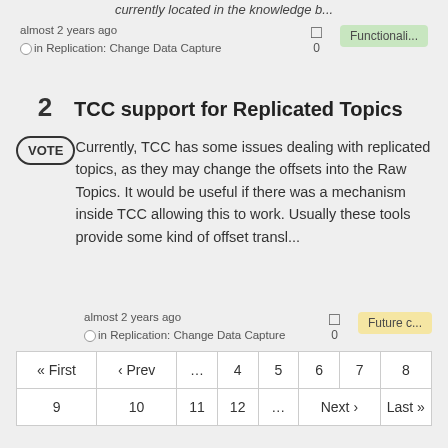currently located in the knowledge b...
almost 2 years ago
in Replication: Change Data Capture
[chat icon] 0
Functionali...
2  TCC support for Replicated Topics
VOTE
Currently, TCC has some issues dealing with replicated topics, as they may change the offsets into the Raw Topics. It would be useful if there was a mechanism inside TCC allowing this to work. Usually these tools provide some kind of offset transl...
almost 2 years ago
in Replication: Change Data Capture
[chat icon] 0
Future c...
| « First | ‹ Prev | … | 4 | 5 | 6 | 7 | 8 |
| 9 | 10 | 11 | 12 | … | Next › | Last » |